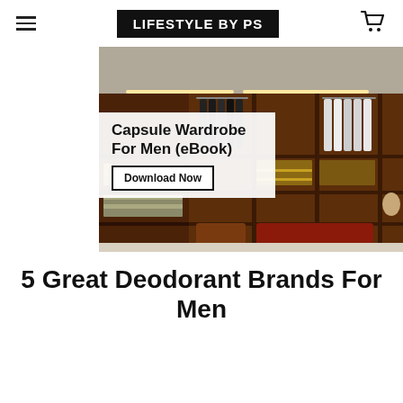LIFESTYLE BY PS
[Figure (photo): Luxury walk-in wardrobe with dark wood shelving, hanging clothes (dark jackets and white shirts), folded items on shelves, and suitcases on the floor. Overlay text reads 'Capsule Wardrobe For Men (eBook)' with a 'Download Now' button.]
5 Great Deodorant Brands For Men